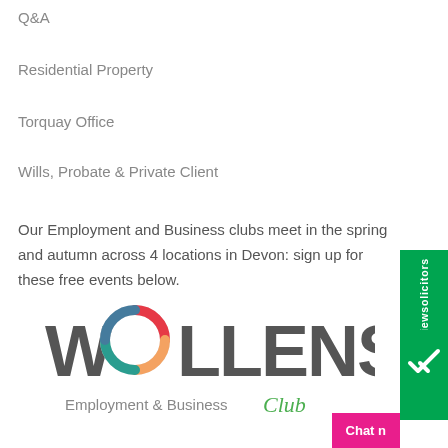Q&A
Residential Property
Torquay Office
Wills, Probate & Private Client
Our Employment and Business clubs meet in the spring and autumn across 4 locations in Devon: sign up for these free events below.
[Figure (logo): Wollens Employment & Business Club logo — WOLLENS in bold grey letters with a rainbow-coloured circular letter O, and 'Employment & Business Club' below in grey and green cursive]